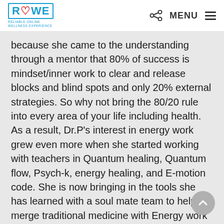ROWE - Reliable Online Wellness Experience | MENU
because she came to the understanding through a mentor that 80% of success is mindset/inner work to clear and release blocks and blind spots and only 20% external strategies. So why not bring the 80/20 rule into every area of your life including health. As a result, Dr.P's interest in energy work grew even more when she started working with teachers in Quantum healing, Quantum flow, Psych-k, energy healing, and E-motion code. She is now bringing in the tools she has learned with a soul mate team to help merge traditional medicine with Energy work as per Einstein's equation E= mC2 to build customized treatment templates for patients.